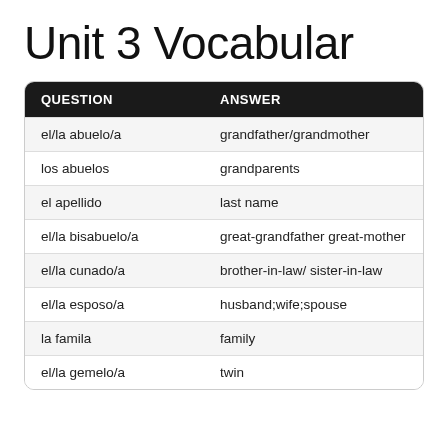Unit 3 Vocabular
| QUESTION | ANSWER |
| --- | --- |
| el/la abuelo/a | grandfather/grandmother |
| los abuelos | grandparents |
| el apellido | last name |
| el/la bisabuelo/a | great-grandfather great-mother |
| el/la cunado/a | brother-in-law/ sister-in-law |
| el/la esposo/a | husband;wife;spouse |
| la famila | family |
| el/la gemelo/a | twin |